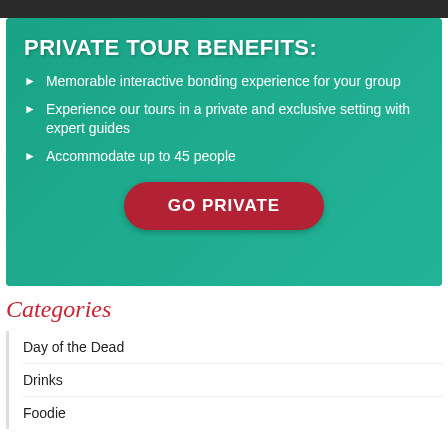[Figure (photo): Dark photo strip at top of page, partial image visible]
[Figure (infographic): Teal/green banner with private tour benefits listed and a red 'GO PRIVATE' button. Background shows two women smiling. Title: PRIVATE TOUR BENEFITS. Bullet points: Memorable interactive bonding experience for your group; Experience our tours in a private and exclusive setting with expert guides; Accommodate up to 45 people.]
Categories
Day of the Dead
Drinks
Foodie